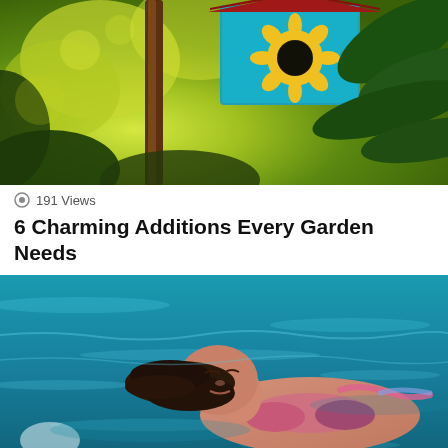[Figure (photo): Outdoor garden scene with a colorful blue and yellow birdhouse on a pole, surrounded by green tropical leaves and yellow flowers in the background]
191 Views
6 Charming Additions Every Garden Needs
[Figure (photo): Woman in a bikini floating on her back in a blue swimming pool with water ripples and white reflections]